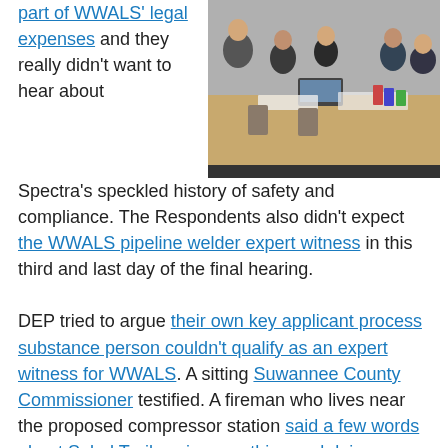part of WWALS' legal expenses and they really didn't want to hear about Spectra's speckled history of safety and compliance. The Respondents also didn't expect the WWALS pipeline welder expert witness in this third and last day of the final hearing.
[Figure (photo): People seated around a conference table in a meeting room, appearing to be in a formal hearing or meeting setting.]
DEP tried to argue their own key applicant process substance person couldn't qualify as an expert witness for WWALS. A sitting Suwannee County Commissioner testified. A fireman who lives near the proposed compressor station said a few words about Sabal Trail saying one thing and doing another. A string of WWALS witnesses talked about generations of use and enjoyment, joining WWALS because WWALS took in the upper Suwannee as territory, more new WWALS members, WWALS as a Waterkeeper® Alliance Affiliate.